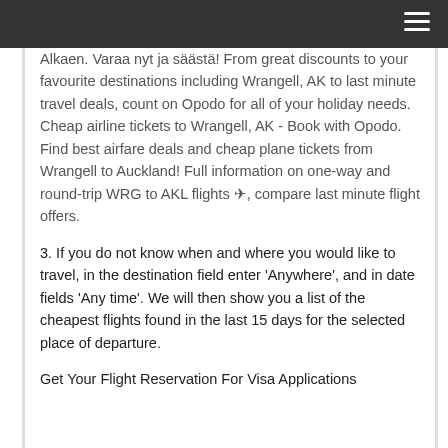Alkaen. Varaa nyt ja säästä! From great discounts to your favourite destinations including Wrangell, AK to last minute travel deals, count on Opodo for all of your holiday needs. Cheap airline tickets to Wrangell, AK - Book with Opodo. Find best airfare deals and cheap plane tickets from Wrangell to Auckland! Full information on one-way and round-trip WRG to AKL flights ✈, compare last minute flight offers.
3. If you do not know when and where you would like to travel, in the destination field enter 'Anywhere', and in date fields 'Any time'. We will then show you a list of the cheapest flights found in the last 15 days for the selected place of departure.
Get Your Flight Reservation For Visa Applications